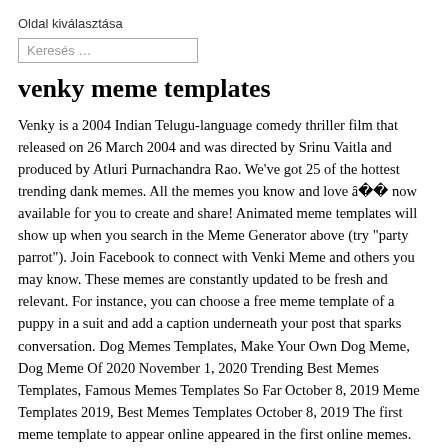Oldal kiválasztása
Keresés …
venky meme templates
Venky is a 2004 Indian Telugu-language comedy thriller film that released on 26 March 2004 and was directed by Srinu Vaitla and produced by Atluri Purnachandra Rao. We've got 25 of the hottest trending dank memes. All the memes you know and love â   now available for you to create and share! Animated meme templates will show up when you search in the Meme Generator above (try "party parrot"). Join Facebook to connect with Venki Meme and others you may know. These memes are constantly updated to be fresh and relevant. For instance, you can choose a free meme template of a puppy in a suit and add a caption underneath your post that sparks conversation. Dog Memes Templates, Make Your Own Dog Meme, Dog Meme Of 2020 November 1, 2020 Trending Best Memes Templates, Famous Memes Templates So Far October 8, 2019 Meme Templates 2019, Best Memes Templates October 8, 2019 The first meme template to appear online appeared in the first online memes. Using still pictures, meme GIFs, and video memes, customize and share anything from inside jokes to happy birthday messages with memes youâ  ve made yourself. Thank You Vaitla babai inthe hanna yavi channagalom. May 31, 2020 – Explore